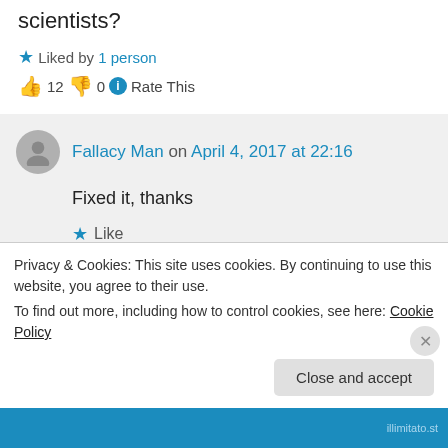scientists?
★ Liked by 1 person
👍 12 👎 0 ℹ Rate This
Fallacy Man on April 4, 2017 at 22:16
Fixed it, thanks
★ Like
👍 4 👎 0 ℹ Rate This
Privacy & Cookies: This site uses cookies. By continuing to use this website, you agree to their use. To find out more, including how to control cookies, see here: Cookie Policy
Close and accept